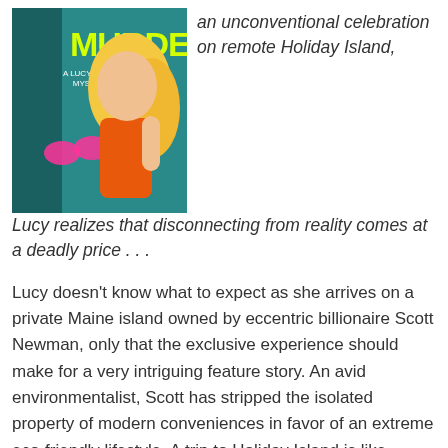[Figure (illustration): Book cover for a Lucy Stone Mystery featuring the word MURDER in yellow text, with an illustrated blonde woman in an orange dress and sunglasses on a teal/blue background.]
an unconventional celebration on remote Holiday Island, Lucy realizes that disconnecting from reality comes at a deadly price . . .
Lucy doesn't know what to expect as she arrives on a private Maine island owned by eccentric billionaire Scott Newman, only that the exclusive experience should make for a very intriguing feature story. An avid environmentalist, Scott has stripped the isolated property of modern conveniences in favor of an extreme eco-friendly lifestyle. A trip to Holiday Island is like traveling back to the nineteenth Century, and it turns out other residents aren't exactly enthusiastic about living without cell service and